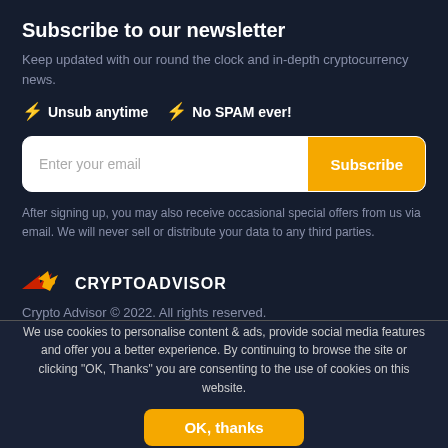Subscribe to our newsletter
Keep updated with our round the clock and in-depth cryptocurrency news.
⚡ Unsub anytime
⚡ No SPAM ever!
Enter your email [Subscribe button]
After signing up, you may also receive occasional special offers from us via email. We will never sell or distribute your data to any third parties.
[Figure (logo): CryptoAdvisor logo with red/yellow bird icon and bold text CRYPTOADVISOR]
Crypto Advisor © 2022. All rights reserved.
We use cookies to personalise content & ads, provide social media features and offer you a better experience. By continuing to browse the site or clicking "OK, Thanks" you are consenting to the use of cookies on this website.